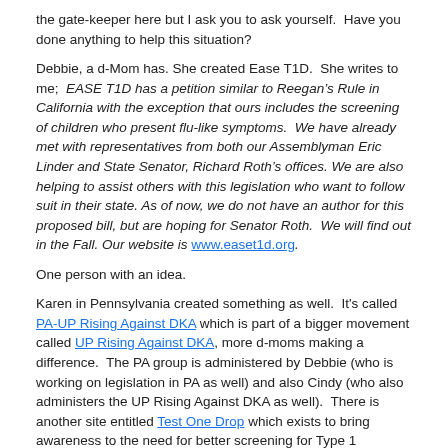the gate-keeper here but I ask you to ask yourself.  Have you done anything to help this situation?
Debbie, a d-Mom has. She created Ease T1D.  She writes to me;  EASE T1D has a petition similar to Reegan’s Rule in California with the exception that ours includes the screening of children who present flu-like symptoms.  We have already met with representatives from both our Assemblyman Eric Linder and State Senator, Richard Roth’s offices. We are also helping to assist others with this legislation who want to follow suit in their state. As of now, we do not have an author for this proposed bill, but are hoping for Senator Roth.  We will find out in the Fall. Our website is www.easet1d.org.
One person with an idea.
Karen in Pennsylvania created something as well.  It's called PA-UP Rising Against DKA which is part of a bigger movement called UP Rising Against DKA, more d-moms making a difference.  The PA group is administered by Debbie (who is working on legislation in PA as well) and also Cindy (who also administers the UP Rising Against DKA as well).  There is another site entitled Test One Drop which exists to bring awareness to the need for better screening for Type 1 Diabetes.  You can download a poster from there and place it in your community.  Cindy is the brains and powerhouse driving force behind this as well.  These d-Parents have very full plates as well, but they are finding time to make a difference.